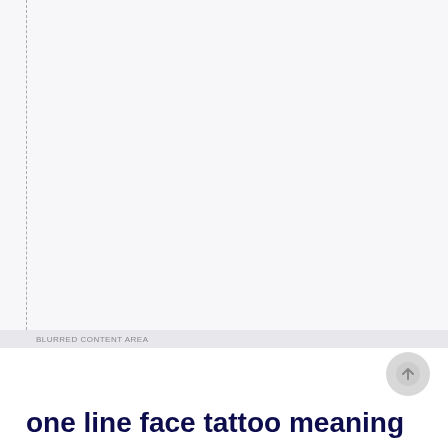[Figure (screenshot): Large mostly blank/white area with a vertical dashed line on the left side, representing a webpage screenshot placeholder or blurred content area.]
one line face tattoo meaning